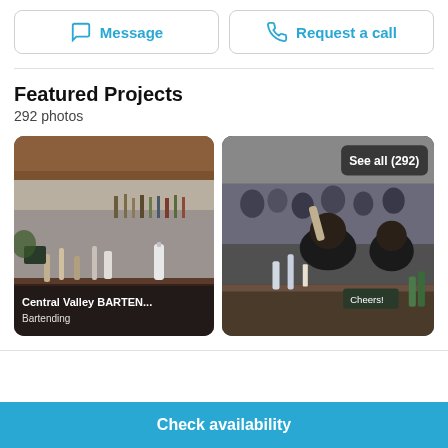[Figure (screenshot): Message button with speech bubble icon]
[Figure (screenshot): Request a call button with phone icon]
Featured Projects
292 photos
[Figure (photo): Photo of a bar setup titled 'Central Valley BARTEN...' with subtitle 'Bartending']
[Figure (photo): Photo of bartenders at work with 'See all (292)' badge overlay]
Check availability